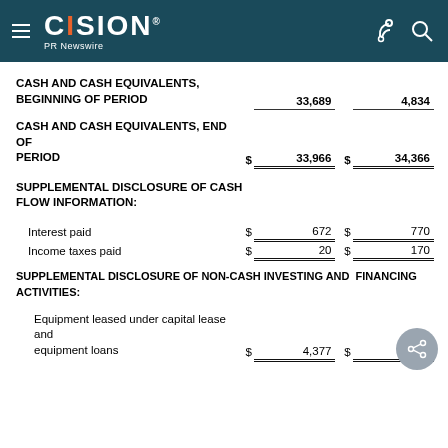CISION PR Newswire
| CASH AND CASH EQUIVALENTS, BEGINNING OF PERIOD |  | 33,689 |  | 4,834 |
| CASH AND CASH EQUIVALENTS, END OF PERIOD | $ | 33,966 | $ | 34,366 |
| SUPPLEMENTAL DISCLOSURE OF CASH FLOW INFORMATION: |  |  |  |  |
| Interest paid | $ | 672 | $ | 770 |
| Income taxes paid | $ | 20 | $ | 170 |
| SUPPLEMENTAL DISCLOSURE OF NON-CASH INVESTING AND FINANCING ACTIVITIES: |  |  |  |  |
| Equipment leased under capital lease and equipment loans | $ | 4,377 | $ |  |